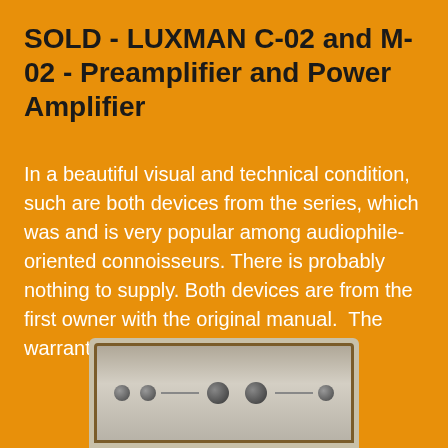SOLD - LUXMAN C-02 and M-02 - Preamplifier and Power Amplifier
In a beautiful visual and technical condition, such are both devices from the series, which was and is very popular among audiophile-oriented connoisseurs. There is probably nothing to supply. Both devices are from the first owner with the original manual.  The warranty for both...
[Figure (photo): Bottom portion of a Luxman amplifier unit, showing the silver/grey front panel with wooden side trim and control knobs, partially cropped at the bottom of the page.]